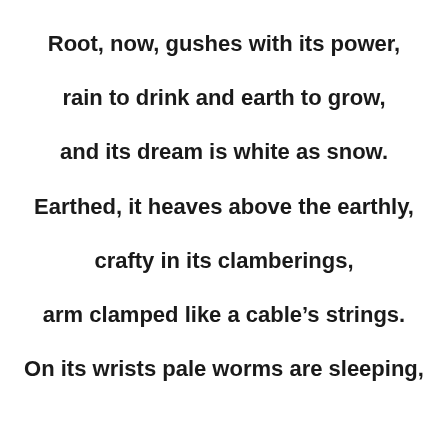Root, now, gushes with its power,
rain to drink and earth to grow,
and its dream is white as snow.
Earthed, it heaves above the earthly,
crafty in its clamberings,
arm clamped like a cable’s strings.
On its wrists pale worms are sleeping,